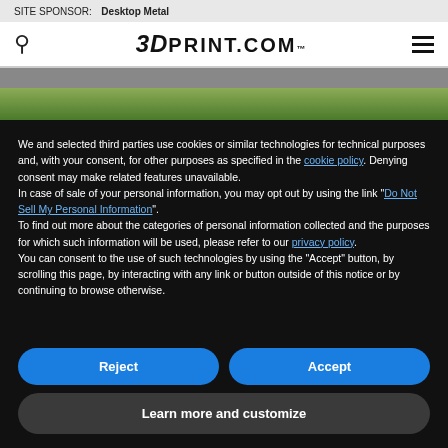SITE SPONSOR: Desktop Metal
[Figure (screenshot): 3DPrint.com website navigation bar with search icon, logo, and hamburger menu]
[Figure (photo): Partial photo of grass/outdoor scene visible behind cookie consent overlay]
We and selected third parties use cookies or similar technologies for technical purposes and, with your consent, for other purposes as specified in the cookie policy. Denying consent may make related features unavailable.
In case of sale of your personal information, you may opt out by using the link "Do Not Sell My Personal Information".
To find out more about the categories of personal information collected and the purposes for which such information will be used, please refer to our privacy policy.
You can consent to the use of such technologies by using the "Accept" button, by scrolling this page, by interacting with any link or button outside of this notice or by continuing to browse otherwise.
Reject
Accept
Learn more and customize